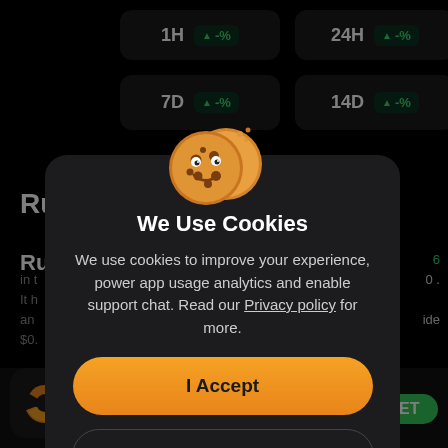[Figure (screenshot): Dark background app screen showing time period cards: 1H ▲-%, 24H ▲-%, 7D ▲-%, 14D ▲-% with partial text 'Ru' and partial lines visible behind a cookie consent modal dialog]
[Figure (illustration): Two cartoon cookie emoji characters overlapping, smiling faces with chocolate chips]
We Use Cookies
We use cookies to improve your experience, power app usage analytics and enable support chat. Read our Privacy policy for more.
I Accept
Manage
(935K)